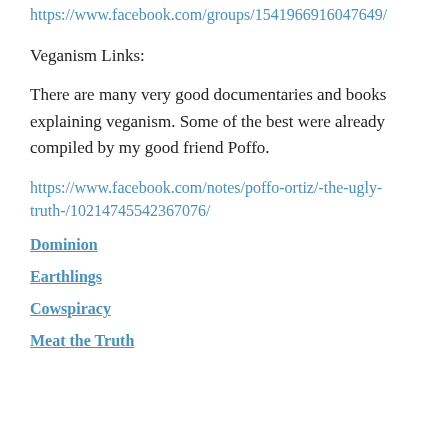https://www.facebook.com/groups/1541966916047649/
Veganism Links:
There are many very good documentaries and books explaining veganism. Some of the best were already compiled by my good friend Poffo.
https://www.facebook.com/notes/poffo-ortiz/-the-ugly-truth-/10214745542367076/
Dominion
Earthlings
Cowspiracy
Meat the Truth